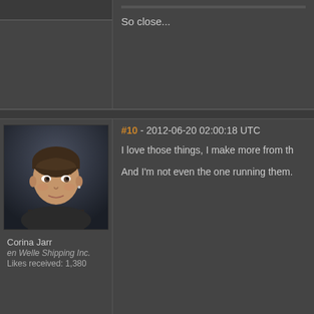So close...
#10 - 2012-06-20 02:00:18 UTC
I love those things, I make more from th...
And I'm not even the one running them.
[Figure (photo): Avatar portrait of Corina Jarr, female character with short brown hair in a dark sci-fi style illustration]
Corina Jarr
en Welle Shipping Inc.
Likes received: 1,380
#11 - 2012-06-20 02:02:23 UTC
Nigerian Princes ftw.
Wait, wut?
[Figure (photo): Avatar portrait of a female character with brown hair pulled back, in dark sci-fi style illustration]